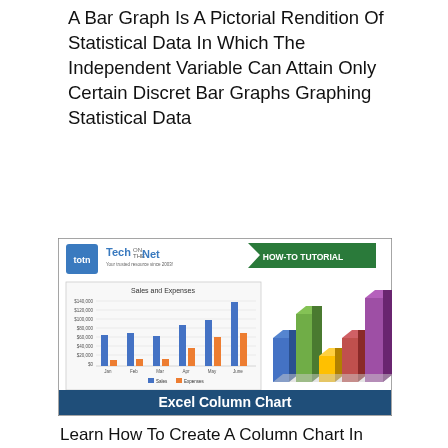A Bar Graph Is A Pictorial Rendition Of Statistical Data In Which The Independent Variable Can Attain Only Certain Discret Bar Graphs Graphing Statistical Data
[Figure (screenshot): Screenshot of a TechOnTheNet HOW-TO TUTORIAL page showing an Excel Column Chart with a bar chart titled 'Sales and Expenses' comparing Sales and Expenses across Jan, Feb, Mar, Apr, May, June months, plus a 3D bar chart on the right side. Bottom banner reads 'Excel Column Chart'.]
Learn How To Create A Column Chart In Microsoft Excel This Tutorial Talks About